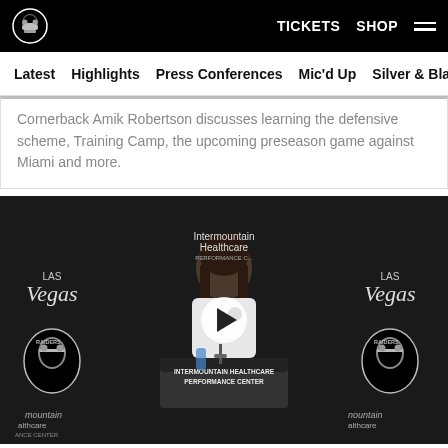TICKETS  SHOP  ☰
Latest  Highlights  Press Conferences  Mic'd Up  Silver & Black
Cornerback Amik Robertson discusses learning the defensive scheme, Training Camp, the upcoming preseason game against Miami and more.
[Figure (photo): Press conference video thumbnail showing a man in a white Raiders t-shirt standing at a podium with 'Intermountain Healthcare Performance Center' text, Las Vegas Raiders branded backdrop, with a play button overlay.]
VIDEO